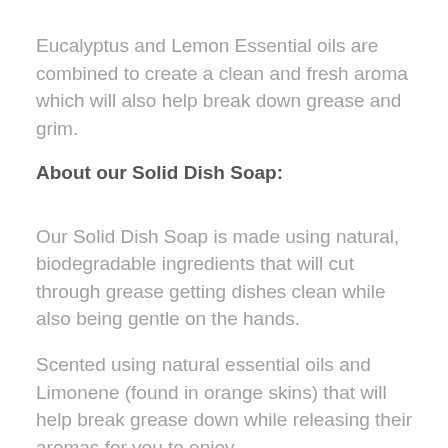Eucalyptus and Lemon Essential oils are combined to create a clean and fresh aroma which will also help break down grease and grim.
About our Solid Dish Soap:
Our Solid Dish Soap is made using natural, biodegradable ingredients that will cut through grease getting dishes clean while also being gentle on the hands.
Scented using natural essential oils and Limonene (found in orange skins) that will help break grease down while releasing their aromas for you to enjoy.
Our Solid Dish Soap comes in a recyclable